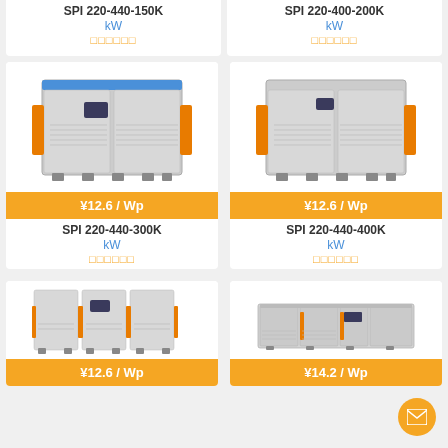SPI 220-440-150K
kW
□□□□□□
SPI 220-400-200K
kW
□□□□□□
[Figure (photo): Industrial inverter unit SPI 220-440-300K, grey cabinet with orange side handles]
¥12.6 / Wp
SPI 220-440-300K
kW
□□□□□□
[Figure (photo): Industrial inverter unit SPI 220-440-400K, grey cabinet with orange side handles]
¥12.6 / Wp
SPI 220-440-400K
kW
□□□□□□
[Figure (photo): Large industrial inverter unit, three-section grey cabinet with orange side handles]
¥12.6 / Wp
[Figure (photo): Wide industrial inverter cabinet unit with multiple sections]
¥14.2 / Wp